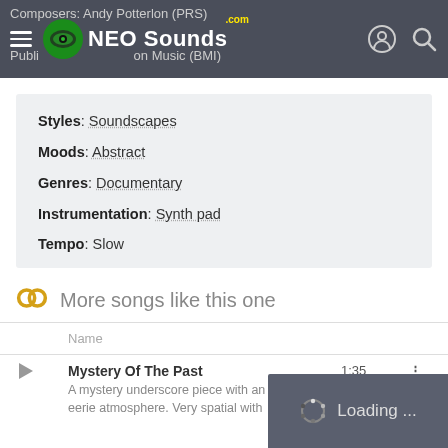NEO Sounds .com — navigation bar
Composers: Andy Potterlon (PRS)
Publisher: Broadcast Ion Music (BMI)
Styles: Soundscapes
Moods: Abstract
Genres: Documentary
Instrumentation: Synth pad
Tempo: Slow
More songs like this one
| Name |
| --- |
| Mystery Of The Past | A mystery underscore piece with an eerie atmosphere. Very spatial with | 1:35 |
[Figure (screenshot): Loading... overlay in bottom-right corner]